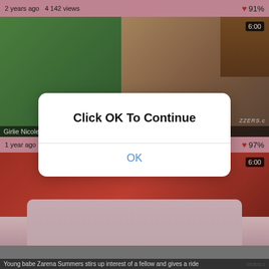2 years ago  4 142 views   ♥ 91%
[Figure (screenshot): Video thumbnail showing two people in a bedroom scene with green shirt visible on left]
Girlie Nicole Bexley goes wild over stick
1 year ago  7 011 views   ♥ 97%
[Figure (screenshot): Video thumbnail showing person in red floral dress from behind]
Young babe Zarena Summers stirs up interest of a fellow and gives a ride
[Figure (screenshot): Modal dialog popup overlaying the page content]
Click OK To Continue
OK